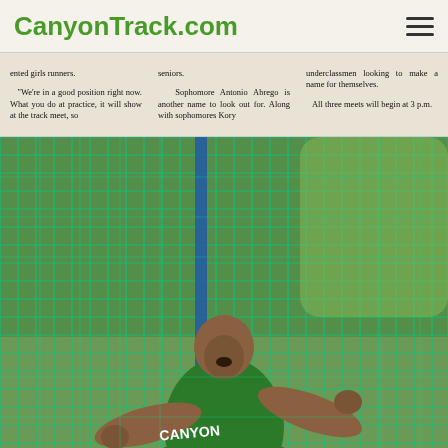CanyonTrack.com
ented girls runners.
"We're in a good position right now. What you do at practice, it will show at the track meet, so
seniors.
Sophomore Antonio Abrego is another name to look out for. Along with sophomores Kory
underclassmen looking to make a name for themselves.
All three meets will begin at 3 p.m.
[Figure (photo): Athlete in green Canyon jersey throwing discus or hammer inside protective netting cage at a track and field event.]